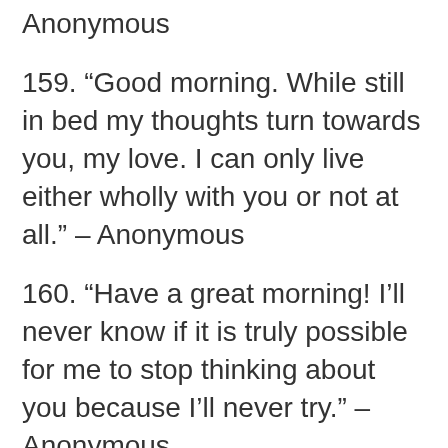Anonymous
159. “Good morning. While still in bed my thoughts turn towards you, my love. I can only live either wholly with you or not at all.” – Anonymous
160. “Have a great morning! I’ll never know if it is truly possible for me to stop thinking about you because I’ll never try.” – Anonymous
161. “My first thought when I opened my eyes, was about you. Your eyes, smile, hair, voice—I am happy that a